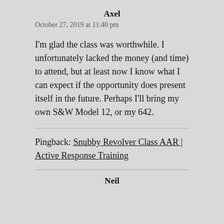Axel
October 27, 2019 at 11:40 pm
I'm glad the class was worthwhile. I unfortunately lacked the money (and time) to attend, but at least now I know what I can expect if the opportunity does present itself in the future. Perhaps I'll bring my own S&W Model 12, or my 642.
Pingback: Snubby Revolver Class AAR | Active Response Training
Neil